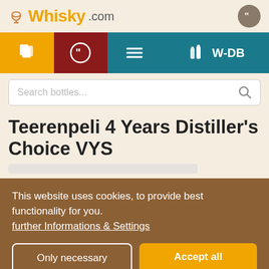Whisky.com
[Figure (screenshot): Navigation bar with four colored sections: orange with book icon, dark red with quote icon, teal with hamburger menu icon, teal with bottles icon and W-DB label]
Search bottles...
Teerenpeli 4 Years Distiller's Choice VYS
This website uses cookies, to provide best functionality for you. further Informations & Settings
Only necessary
Accept all
Legal Notice | About Us